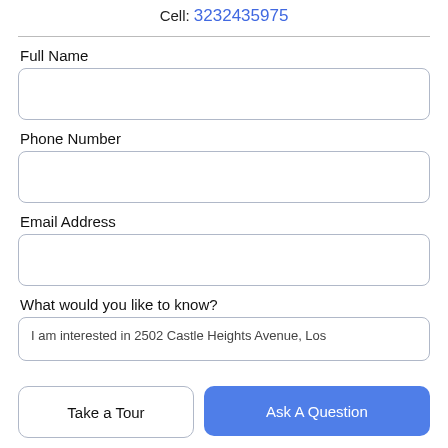Cell: 3232435975
Full Name
Phone Number
Email Address
What would you like to know?
I am interested in 2502 Castle Heights Avenue, Los
Take a Tour
Ask A Question